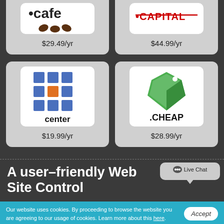[Figure (logo): .cafe domain logo with coffee cups, price $29.49/yr]
[Figure (logo): .CAPITAL domain logo, price $44.99/yr]
[Figure (logo): .center domain logo with grid squares, price $19.99/yr]
[Figure (logo): .CHEAP domain logo with price tag icon, price $28.99/yr]
A user–friendly Web Site Control
Our website uses cookies. By proceeding to browse the website you are agreeing to our usage of cookies. Learn more about this here.